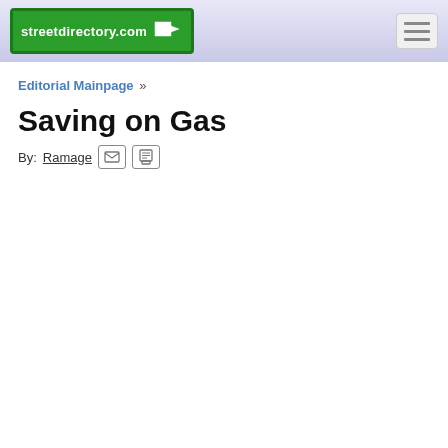streetdirectory.com
Editorial Mainpage »
Saving on Gas
By: Ramage